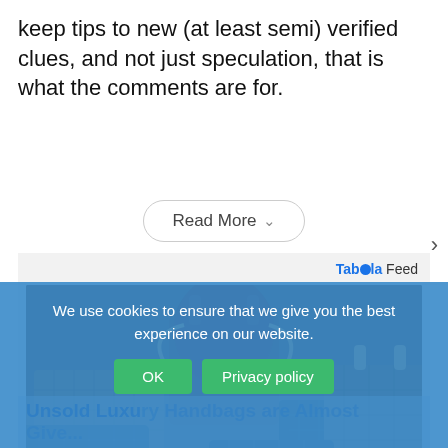keep tips to new (at least semi) verified clues, and not just speculation, that is what the comments are for.
Read More
[Figure (other): Taboola Feed advertisement box showing a collection of luxury handbags including Louis Vuitton and Chanel bags piled together. Below the image is a headline 'Unsold Luxury Handbags Are Almost...' in blue bold text.]
We use cookies to ensure that we give you the best experience on our website.
OK
Privacy policy
Unsold Luxury Handbags are Almost